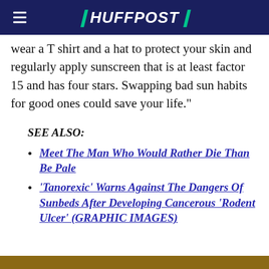HUFFPOST
wear a T shirt and a hat to protect your skin and regularly apply sunscreen that is at least factor 15 and has four stars. Swapping bad sun habits for good ones could save your life."
SEE ALSO:
Meet The Man Who Would Rather Die Than Be Pale
'Tanorexic' Warns Against The Dangers Of Sunbeds After Developing Cancerous 'Rodent Ulcer' (GRAPHIC IMAGES)